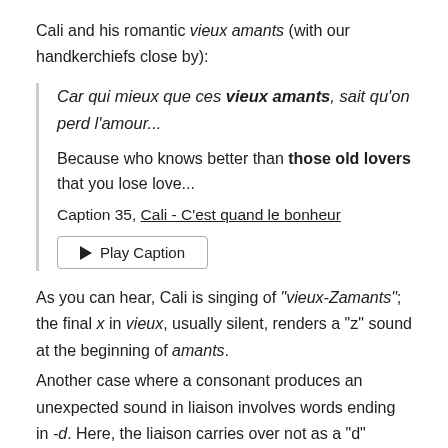Cali and his romantic vieux amants (with our handkerchiefs close by):
Car qui mieux que ces vieux amants, sait qu'on perd l'amour...
Because who knows better than those old lovers that you lose love...
Caption 35, Cali - C'est quand le bonheur
▶ Play Caption
As you can hear, Cali is singing of "vieux-Zamants"; the final x in vieux, usually silent, renders a "z" sound at the beginning of amants.
Another case where a consonant produces an unexpected sound in liaison involves words ending in -d. Here, the liaison carries over not as a "d" sound, but a "t" sound.